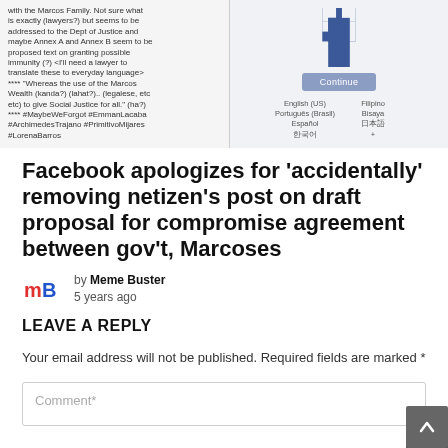[Figure (screenshot): Screenshot of a Facebook post about the Marcos Family with proposed text on granting possible immunity, alongside Facebook's language selection interface with a Continue button and language options including English (US), Filipino, Português (Brasil), Bisaya, Español, 日本語, 한국어.]
Facebook apologizes for 'accidentally' removing netizen's post on draft proposal for compromise agreement between gov't, Marcoses
by Meme Buster
5 years ago
LEAVE A REPLY
Your email address will not be published. Required fields are marked *
Comment*